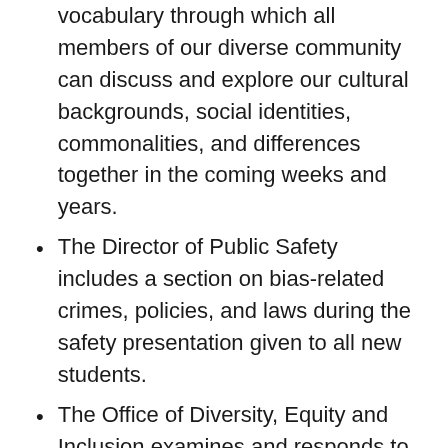vocabulary through which all members of our diverse community can discuss and explore our cultural backgrounds, social identities, commonalities, and differences together in the coming weeks and years.
The Director of Public Safety includes a section on bias-related crimes, policies, and laws during the safety presentation given to all new students.
The Office of Diversity, Equity and Inclusion examines and responds to issues related to prejudice and exclusion, and looks at ways to enhance diversity dialogue and understanding on campus.
The College distributes and makes available an informational pamphlet on bias-related crimes. Included in the pamphlet are the following: